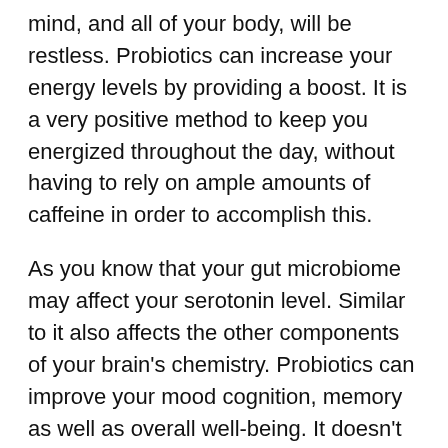mind, and all of your body, will be restless. Probiotics can increase your energy levels by providing a boost. It is a very positive method to keep you energized throughout the day, without having to rely on ample amounts of caffeine in order to accomplish this.
As you know that your gut microbiome may affect your serotonin level. Similar to it also affects the other components of your brain's chemistry. Probiotics can improve your mood cognition, memory as well as overall well-being. It doesn't matter what you do, probiotics can improve your life. It is also an easy capsule that can give you all these